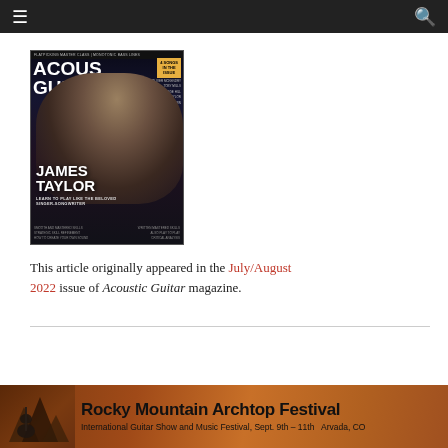Navigation bar with menu and search icons
[Figure (photo): Magazine cover of Acoustic Guitar featuring James Taylor, with text 'FLATPICKING MASTER CLASS | MONOTONIC BASS LINES', 'ACOUSTIC GUITAR', '4 SONGS IN THE ISSUE', 'JAMES TAYLOR', 'LEARN TO PLAY LIKE THE BELOVED SINGER-SONGWRITER']
This article originally appeared in the July/August 2022 issue of Acoustic Guitar magazine.
[Figure (illustration): Rocky Mountain Archtop Festival banner advertisement. International Guitar Show and Music Festival, Sept. 9th - 11th, Arvada, CO. Brown/tan background with mountain silhouette and guitar graphic on the left.]